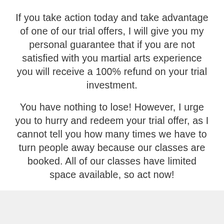If you take action today and take advantage of one of our trial offers, I will give you my personal guarantee that if you are not satisfied with you martial arts experience you will receive a 100% refund on your trial investment.
You have nothing to lose! However, I urge you to hurry and redeem your trial offer, as I cannot tell you how many times we have to turn people away because our classes are booked. All of our classes have limited space available, so act now!
[Figure (logo): Partial dark red circular logo or emblem visible at the bottom of the page, bottom half cut off.]